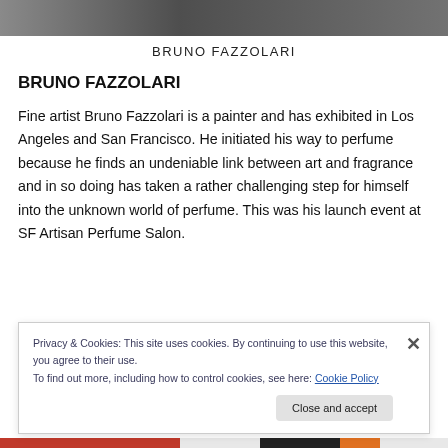[Figure (photo): Top cropped photo of Bruno Fazzolari, dark tones]
BRUNO FAZZOLARI
BRUNO FAZZOLARI
Fine artist Bruno Fazzolari is a painter and has exhibited in Los Angeles and San Francisco. He initiated his way to perfume because he finds an undeniable link between art and fragrance and in so doing has taken a rather challenging step for himself into the unknown world of perfume. This was his launch event at SF Artisan Perfume Salon.
Privacy & Cookies: This site uses cookies. By continuing to use this website, you agree to their use.
To find out more, including how to control cookies, see here: Cookie Policy